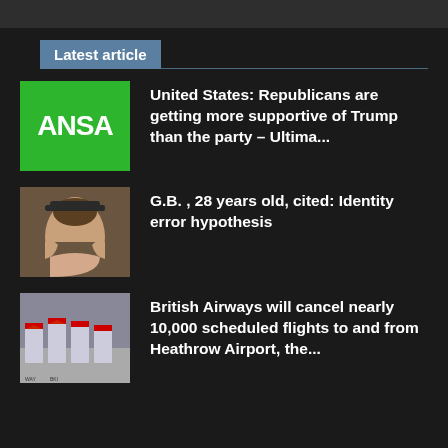Latest article
United States: Republicans are getting more supportive of Trump than the party – Ultima...
G.B. , 28 years old, cited: Identity error hypothesis
British Airways will cancel nearly 10,000 scheduled flights to and from Heathrow Airport, the...